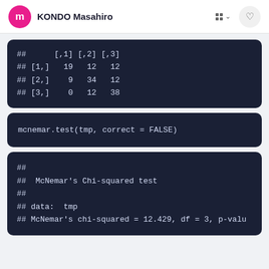KONDO Masahiro
##      [,1] [,2] [,3]
## [1,]   19   12   12
## [2,]    9   34   12
## [3,]    0   12   38
mcnemar.test(tmp, correct = FALSE)
##
##  McNemar's Chi-squared test
##
## data:  tmp
## McNemar's chi-squared = 12.429, df = 3, p-valu